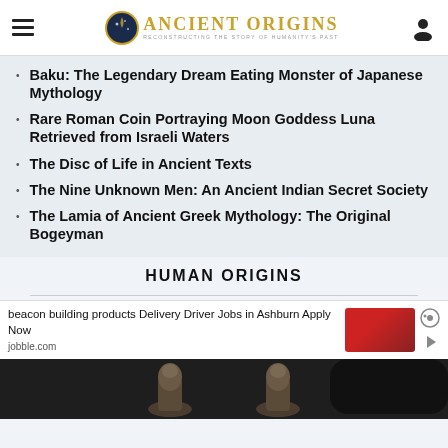Ancient Origins — Reconstructing the Story of Humanity's Past
Baku: The Legendary Dream Eating Monster of Japanese Mythology
Rare Roman Coin Portraying Moon Goddess Luna Retrieved from Israeli Waters
The Disc of Life in Ancient Texts
The Nine Unknown Men: An Ancient Indian Secret Society
The Lamia of Ancient Greek Mythology: The Original Bogeyman
HUMAN ORIGINS
beacon building products Delivery Driver Jobs in Ashburn Apply Now
jobble.com
[Figure (photo): Bottom portion showing ancient statues/figurines against a dark background]